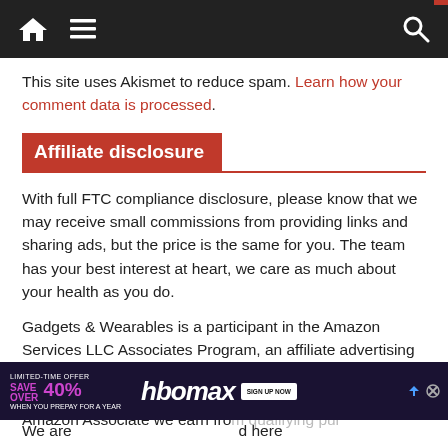Navigation bar with home, menu, and search icons
This site uses Akismet to reduce spam. Learn how your comment data is processed.
Affiliate disclosure
With full FTC compliance disclosure, please know that we may receive small commissions from providing links and sharing ads, but the price is the same for you. The team has your best interest at heart, we care as much about your health as you do.
Gadgets & Wearables is a participant in the Amazon Services LLC Associates Program, an affiliate advertising program designed to provide a means for us to earn fees by linking to Amazon.com and affiliated sites. As an Amazon Associate we earn from qualifying purchases.
[Figure (screenshot): HBO Max advertisement banner: LIMITED-TIME OFFER SAVE OVER 40% WHEN YOU PREPAY FOR A YEAR, with SIGN UP NOW button]
We are ...d here